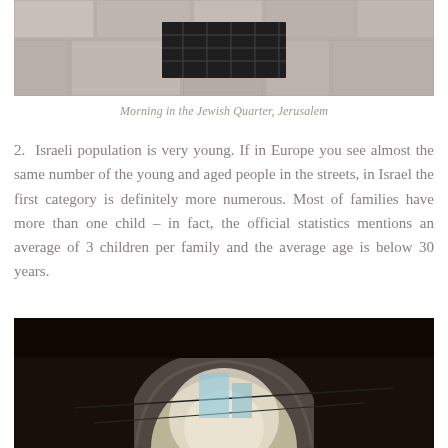[Figure (photo): Top portion of a photo showing stone pavement in the Jewish Quarter, Jerusalem, with a metal grate/drain visible on the ground]
Morning in the Jewish Quarter, Jerusalem
2.  Israeli population is very young. If in Europe you see almost the same number of the young and aged people in the streets, in Israel the first category is definitely more numerous. Most of families have more than one child – in fact, the official statistics mentions an average of 3 children per family and the average age is below 30 years.
[Figure (photo): Bottom portion of a photo showing a stone archway/tunnel in Jerusalem, with a bright opening visible through the arch and electrical wires crossing in front]